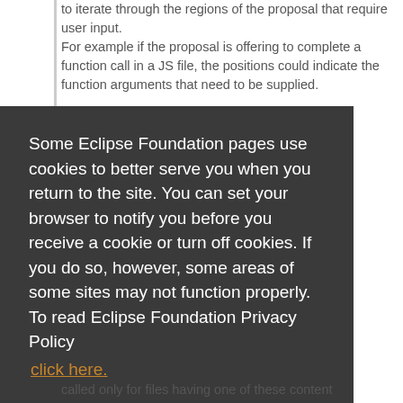to iterate through the regions of the proposal that require user input.
For example if the proposal is offering to complete a function call in a JS file, the positions could indicate the function arguments that need to be supplied.
Some Eclipse Foundation pages use cookies to better serve you when you return to the site. You can set your browser to notify you before you receive a cookie or turn off cookies. If you do so, however, some areas of some sites may not function properly. To read Eclipse Foundation Privacy Policy click here.
called only for files having one of these content